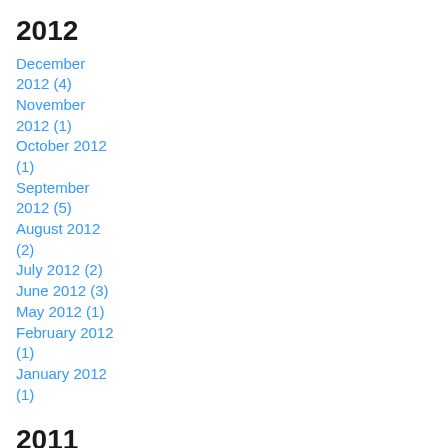2012
December 2012 (4)
November 2012 (1)
October 2012 (1)
September 2012 (5)
August 2012 (2)
July 2012 (2)
June 2012 (3)
May 2012 (1)
February 2012 (1)
January 2012 (1)
2011
December 2011 (2)
October 2011 (1)